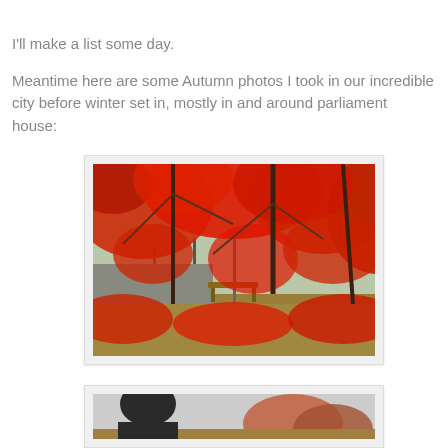I'll make a list some day.

Meantime here are some Autumn photos I took in our incredible city before winter set in, mostly in and around parliament house:
[Figure (photo): Autumn photo of a park scene near parliament house with vibrant red and orange foliage on trees, a wooden bench visible beneath the canopy, and fallen leaves on the ground]
[Figure (photo): Partial view of a second autumn photo showing a dark silhouette figure in foreground and autumn trees in background, cropped at bottom of page]